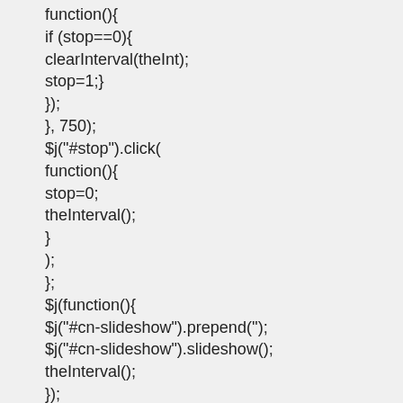function(){
if (stop==0){
clearInterval(theInt);
stop=1;}
});
}, 750);
$j("#stop").click(
function(){
stop=0;
theInterval();
}
);
};
$j(function(){
$j("#cn-slideshow").prepend('');
$j("#cn-slideshow").slideshow();
theInterval();
});